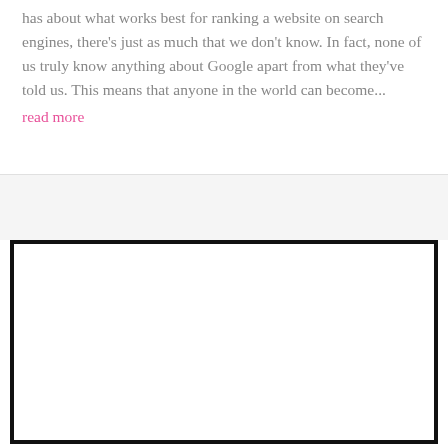has about what works best for ranking a website on search engines, there's just as much that we don't know. In fact, none of us truly know anything about Google apart from what they've told us. This means that anyone in the world can become...
read more
[Figure (other): Large empty white rectangle with thick black border, representing an advertisement or placeholder image block]